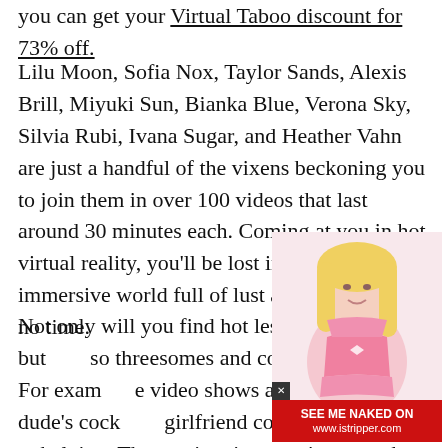you can get your Virtual Taboo discount for 73% off.
Lilu Moon, Sofia Nox, Taylor Sands, Alexis Brill, Miyuki Sun, Bianka Blue, Verona Sky, Silvia Rubi, Ivana Sugar, and Heather Vahn are just a handful of the vixens beckoning you to join them in over 100 videos that last around 30 minutes each. Coming at you in hot virtual reality, you’ll be lost in a totally immersive world full of lust and pleasure in no time.
Not only will you find hot lesbian sex here, but also threesomes and couples fucking. For example, one video shows a babe blowing a dude’s cock while his girlfriend comes in and gets to helping. The situation gets intense when that girls boyfriend walks in, but he plays it to his advantage and dumps his girl so he can get with the other girl and goes hot swapping. Naturally, the girls are going for it too.
[Figure (photo): Partial advertisement overlay showing a blonde woman in pink lingerie with a red banner reading SEE ME NAKED ON www.istripper.com]